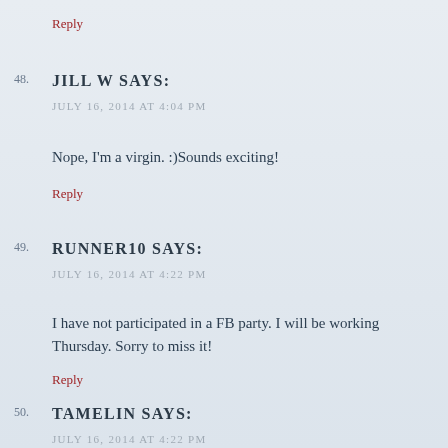Reply
48. JILL W SAYS:
JULY 16, 2014 AT 4:04 PM
Nope, I'm a virgin. :)Sounds exciting!
Reply
49. RUNNER10 SAYS:
JULY 16, 2014 AT 4:22 PM
I have not participated in a FB party. I will be working Thursday. Sorry to miss it!
Reply
50. TAMELIN SAYS:
JULY 16, 2014 AT 4:22 PM